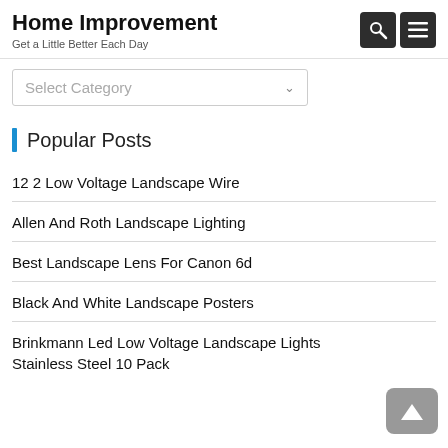Home Improvement
Get a Little Better Each Day
Select Category
Popular Posts
12 2 Low Voltage Landscape Wire
Allen And Roth Landscape Lighting
Best Landscape Lens For Canon 6d
Black And White Landscape Posters
Brinkmann Led Low Voltage Landscape Lights Stainless Steel 10 Pack